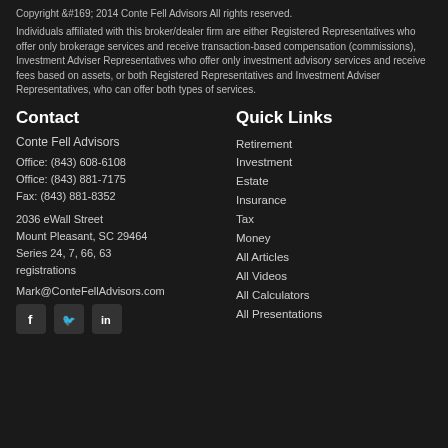Copyright &#38;#169; 2014 Conte Fell Advisors All rights reserved.
Individuals affiliated with this broker/dealer firm are either Registered Representatives who offer only brokerage services and receive transaction-based compensation (commissions), Investment Adviser Representatives who offer only investment advisory services and receive fees based on assets, or both Registered Representatives and Investment Adviser Representatives, who can offer both types of services.
Contact
Conte Fell Advisors
Office: (843) 608-6108
Office: (843) 881-7175
Fax: (843) 881-8352
2036 eWall Street
Mount Pleasant, SC 29464
Series 24, 7, 66, 63 registrations
Mark@ConteFellAdvisors.com
[Figure (illustration): Social media icons: Facebook, Twitter, LinkedIn]
Quick Links
Retirement
Investment
Estate
Insurance
Tax
Money
All Articles
All Videos
All Calculators
All Presentations